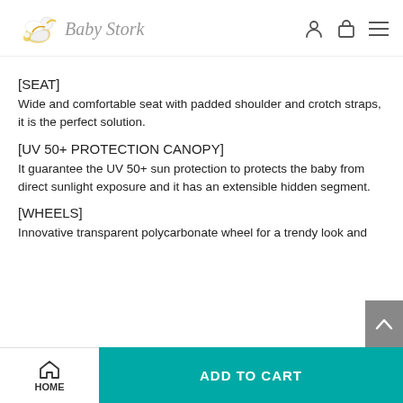Baby Stork
[SEAT]
Wide and comfortable seat with padded shoulder and crotch straps, it is the perfect solution.
[UV 50+ PROTECTION CANOPY]
It guarantee the UV 50+ sun protection to protects the baby from direct sunlight exposure and it has an extensible hidden segment.
[WHEELS]
Innovative transparent polycarbonate wheel for a trendy look and
HOME  ADD TO CART